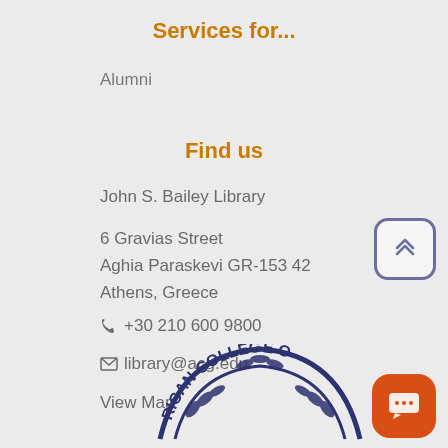Services for...
Alumni
Find us
John S. Bailey Library
6 Gravias Street
Aghia Paraskevi GR-153 42
Athens, Greece
+30 210 600 9800
library@acg.edu
View Map
[Figure (logo): American College of Greece circular logo with olive branch arch, partial view at bottom of page]